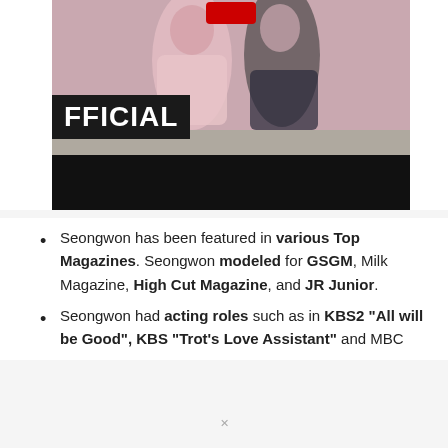[Figure (photo): Photo of two young women in pink and dark outfits posing together. A YouTube-style red play icon is visible at the top, and a dark banner with white text 'FFICIAL' (partial word, likely 'OFFICIAL') overlays the lower portion of the image. The bottom strip of the image is black.]
Seongwon has been featured in various Top Magazines. Seongwon modeled for GSGM, Milk Magazine, High Cut Magazine, and JR Junior.
Seongwon had acting roles such as in KBS2 “All will be Good”, KBS “Trot’s Love Assistant” and MBC “Heroine”